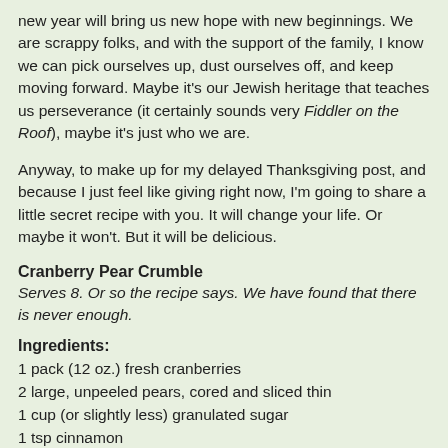new year will bring us new hope with new beginnings. We are scrappy folks, and with the support of the family, I know we can pick ourselves up, dust ourselves off, and keep moving forward. Maybe it's our Jewish heritage that teaches us perseverance (it certainly sounds very Fiddler on the Roof), maybe it's just who we are.
Anyway, to make up for my delayed Thanksgiving post, and because I just feel like giving right now, I'm going to share a little secret recipe with you. It will change your life. Or maybe it won't. But it will be delicious.
Cranberry Pear Crumble
Serves 8. Or so the recipe says. We have found that there is never enough.
Ingredients:
1 pack (12 oz.) fresh cranberries
2 large, unpeeled pears, cored and sliced thin
1 cup (or slightly less) granulated sugar
1 tsp cinnamon
1/4 cup flour (to be divided - I don't measure it out at the